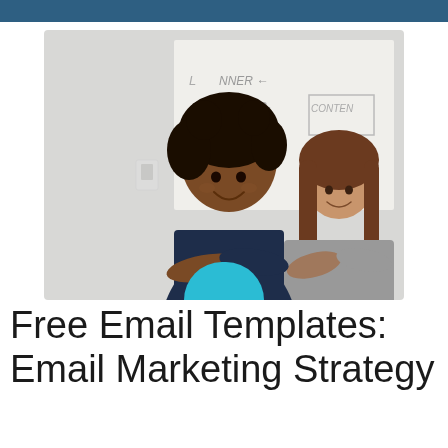[Figure (photo): Two professional women standing with arms crossed in front of a whiteboard with marketing strategy notes, smiling at the camera. The woman in front wears a navy blazer over a white top; the woman behind wears a gray top.]
Free Email Templates: Email Marketing Strategy